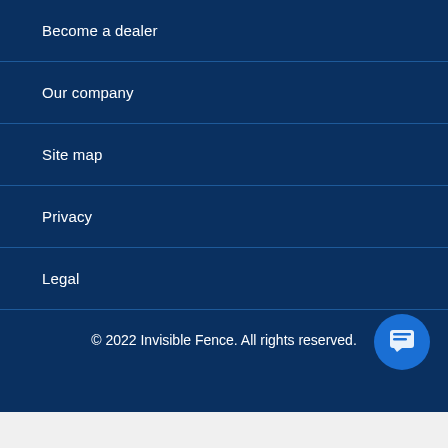Become a dealer
Our company
Site map
Privacy
Legal
© 2022 Invisible Fence. All rights reserved.